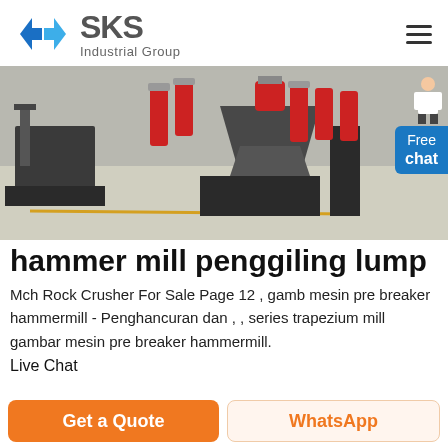[Figure (logo): SKS Industrial Group logo with blue diamond/arrow icon and grey text]
[Figure (photo): Industrial hammer mill / rock crusher machines in a factory floor, large grey cone-shaped machines with red hydraulic cylinders]
hammer mill penggiling lump
Mch Rock Crusher For Sale Page 12 , gamb mesin pre breaker hammermill - Penghancuran dan , , series trapezium mill gambar mesin pre breaker hammermill.
Live Chat
Get a Quote
WhatsApp